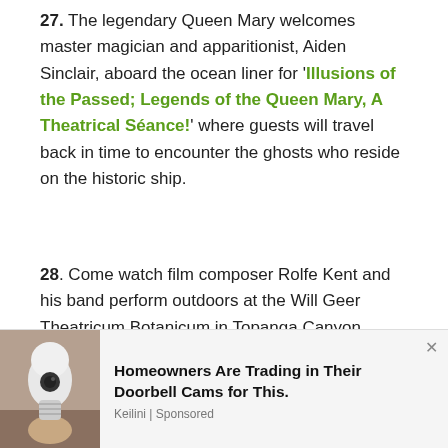27. The legendary Queen Mary welcomes master magician and apparitionist, Aiden Sinclair, aboard the ocean liner for 'Illusions of the Passed; Legends of the Queen Mary, A Theatrical Séance!' where guests will travel back in time to encounter the ghosts who reside on the historic ship.
28. Come watch film composer Rolfe Kent and his band perform outdoors at the Will Geer Theatricum Botanicum in Topanga Canyon during "The Concert Goes Awry!" He and his band will create...
[Figure (photo): Advertisement banner showing a smart security camera bulb device held by a hand, with ad text: Homeowners Are Trading in Their Doorbell Cams for This. Keilini | Sponsored]